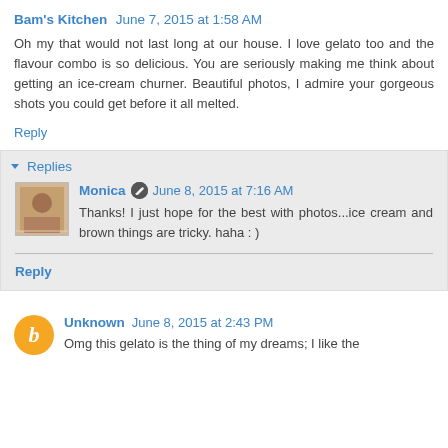Bam's Kitchen June 7, 2015 at 1:58 AM
Oh my that would not last long at our house. I love gelato too and the flavour combo is so delicious. You are seriously making me think about getting an ice-cream churner. Beautiful photos, I admire your gorgeous shots you could get before it all melted.
Reply
Replies
Monica June 8, 2015 at 7:16 AM
Thanks! I just hope for the best with photos...ice cream and brown things are tricky. haha : )
Reply
Unknown June 8, 2015 at 2:43 PM
Omg this gelato is the thing of my dreams; I like the